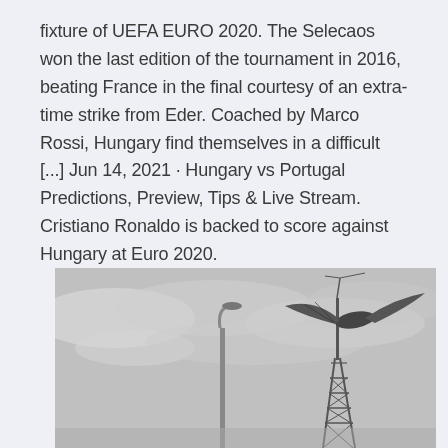fixture of UEFA EURO 2020. The Selecaos won the last edition of the tournament in 2016, beating France in the final courtesy of an extra-time strike from Eder. Coached by Marco Rossi, Hungary find themselves in a difficult [...] Jun 14, 2021 · Hungary vs Portugal Predictions, Preview, Tips & Live Stream. Cristiano Ronaldo is backed to score against Hungary at Euro 2020.
[Figure (photo): Black and white photograph showing a street lamp pole on the left and a large decorative bird-like or wing-shaped sculpture mounted on a lattice tower structure on the right, against a cloudy overcast sky.]